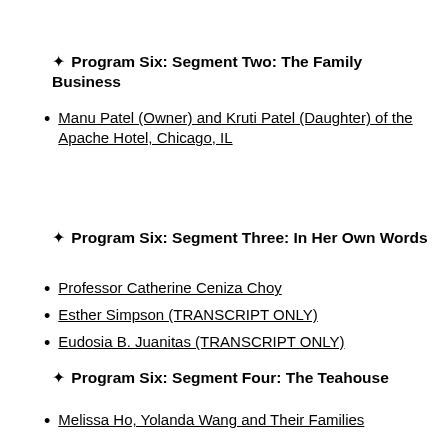❧ Program Six: Segment Two: The Family Business
Manu Patel (Owner) and Kruti Patel (Daughter) of the Apache Hotel, Chicago, IL
❧ Program Six: Segment Three: In Her Own Words
Professor Catherine Ceniza Choy
Esther Simpson (TRANSCRIPT ONLY)
Eudosia B. Juanitas (TRANSCRIPT ONLY)
❧ Program Six: Segment Four: The Teahouse
Melissa Ho, Yolanda Wang and Their Families